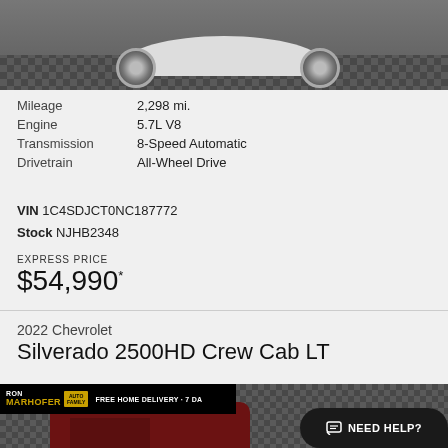[Figure (photo): Top portion of a white car with checkered floor visible, front wheel area shown from above]
Mileage	2,298 mi.
Engine	5.7L V8
Transmission	8-Speed Automatic
Drivetrain	All-Wheel Drive
VIN 1C4SDJCT0NC187772
Stock NJHB2348
EXPRESS PRICE
$54,990*
2022 Chevrolet
Silverado 2500HD Crew Cab LT
[Figure (photo): Bottom portion showing a red/dark Chevrolet Silverado 2500HD truck with Ron Marhofer dealership banner and Need Help chat button overlay]